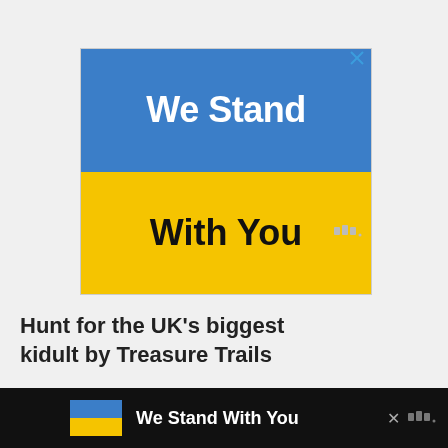[Figure (illustration): Advertisement banner split into two halves: top half is blue with white bold text 'We Stand', bottom half is yellow with black bold text 'With You'. A small X close button is in the top-right corner, and a Moat watermark logo is in the bottom-right area.]
Hunt for the UK's biggest kidult by Treasure Trails
[Figure (illustration): Bottom sticky banner advertisement: dark background, small Ukrainian flag icon (blue/yellow), white bold text 'We Stand With You', close X button, and Moat logo.]